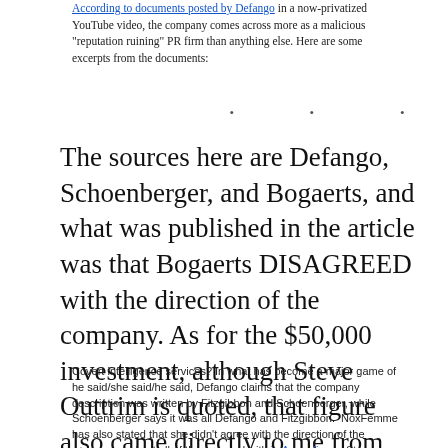According to documents posted by Defango in a now-privatized YouTube video, the company comes across more as a malicious "reputation ruining" PR firm than anything else. Here are some excerpts from the documents:
· · ·
The sources here are Defango, Schoenberger, and Bogaerts, and what was published in the article was that Bogaerts DISAGREED with the direction of the company. As for the $50,000 investment, although Steve Outtrim is quoted, that figure also came directly to me from Bogaerts via Twitter DMs.
Covert intelligence services? In what has become a major game of he said/she said/he said, Defango claims that the company description was written by Fitzgibbon and Schoenberger, while Schoenberger says it was all Defango and Fitzgibbon. NoxFemme has also stated that she didn't agree with the direction of the company and yet all of them stayed with it. According to Steve Outtrim, NoxFemme funded the entire project with $11,000 of a $50K investment going directly into Fitzgibbon's pocket.